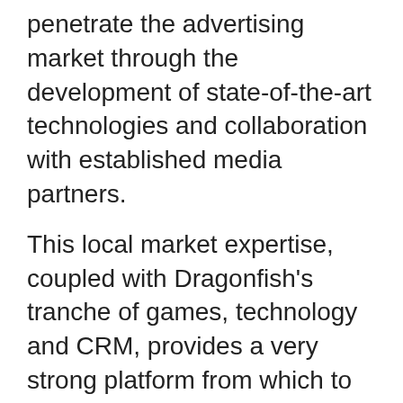penetrate the advertising market through the development of state-of-the-art technologies and collaboration with established media partners.
This local market expertise, coupled with Dragonfish's tranche of games, technology and CRM, provides a very strong platform from which to enter the growing Balkan market, a companyspokesman said this week.
Gabi Campos, Managing Director of Dragonfish, said: “Loper Gate is fast becoming a powerful media player in the Balkans market and has the marketing strength to ensure play848.com becomes a leading online gaming destination.”
“We would like to thank the Dragonfish team for the perfect cooperation we had during the creation of Play848.com,” said Loper director Helen G. Parouti.  “Within very limited timeframes they